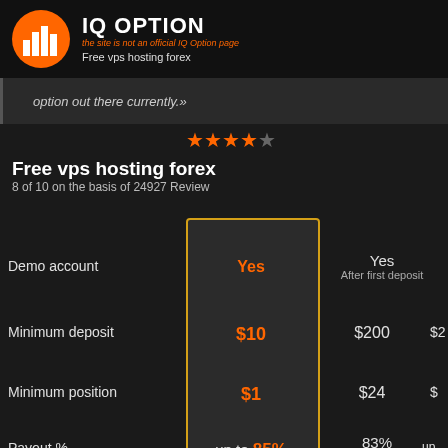IQ OPTION — the site is not an official IQ Option page — Free vps hosting forex
option out there currently.»
[Figure (other): 4 and a half out of 5 stars rating]
Free vps hosting forex
8 of 10 on the basis of 24927 Review
|  | IQ Option | Competitor 1 | Competitor 2 |
| --- | --- | --- | --- |
| Demo account | Yes | Yes After first deposit | ... |
| Minimum deposit | $10 | $200 | $2... |
| Minimum position | $1 | $24 | $... |
| Payout % | up to 85% | 83% Withdrawal commission | up to... |
| Refund % | 45% | None | ... |